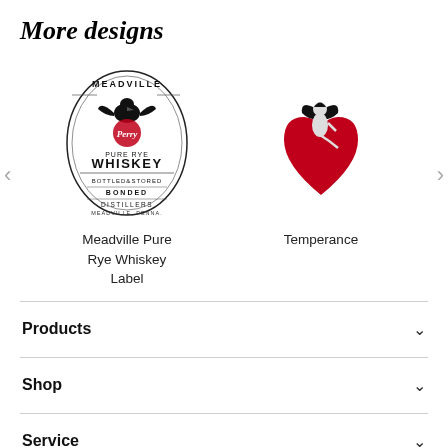More designs
[Figure (illustration): Meadville Pure Rye Whiskey vintage label with eagle and decorative text]
Meadville Pure Rye Whiskey Label
[Figure (illustration): Temperance design showing a figure seated on a red heart with wings]
Temperance
Products
Shop
Service